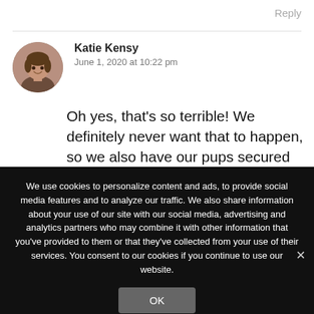Reply
Katie Kensy
June 1, 2020 at 10:22 pm
Oh yes, that's so terrible! We definitely never want that to happen, so we also have our pups secured in the backseat.
We use cookies to personalize content and ads, to provide social media features and to analyze our traffic. We also share information about your use of our site with our social media, advertising and analytics partners who may combine it with other information that you've provided to them or that they've collected from your use of their services. You consent to our cookies if you continue to use our website.
OK